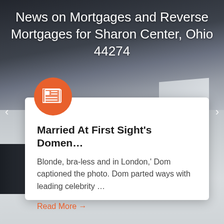News on Mortgages and Reverse Mortgages for Sharon Center, Ohio 44274
[Figure (illustration): Orange circle icon with a newspaper/news graphic in white, overlapping the top of the white card]
Married At First Sight's Domen…
Blonde, bra-less and in London,' Dom captioned the photo. Dom parted ways with leading celebrity …
Read More →